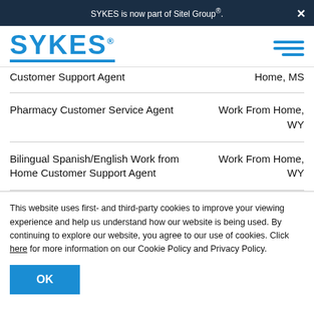SYKES is now part of Sitel Group®.
[Figure (logo): SYKES logo in blue with blue underline bar and hamburger menu icon]
Customer Support Agent — Home, MS
Pharmacy Customer Service Agent — Work From Home, WY
Bilingual Spanish/English Work from Home Customer Support Agent — Work From Home, WY
This website uses first- and third-party cookies to improve your viewing experience and help us understand how our website is being used. By continuing to explore our website, you agree to our use of cookies. Click here for more information on our Cookie Policy and Privacy Policy.